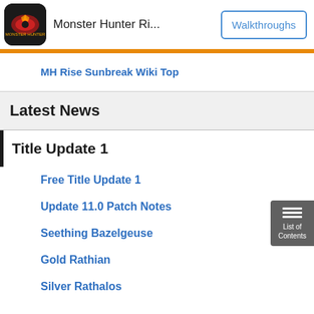Monster Hunter Ri...   Walkthroughs
MH Rise Sunbreak Wiki Top
Latest News
Title Update 1
Free Title Update 1
Update 11.0 Patch Notes
Seething Bazelgeuse
Gold Rathian
Silver Rathalos